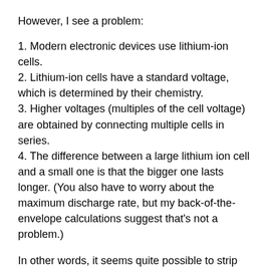However, I see a problem:
1. Modern electronic devices use lithium-ion cells.
2. Lithium-ion cells have a standard voltage, which is determined by their chemistry.
3. Higher voltages (multiples of the cell voltage) are obtained by connecting multiple cells in series.
4. The difference between a large lithium ion cell and a small one is that the bigger one lasts longer. (You also have to worry about the maximum discharge rate, but my back-of-the-envelope calculations suggest that's not a problem.)
In other words, it seems quite possible to strip out most of a laptop battery, replace it with a solid block of C4, and fit enough small cells in the space that's left to power it on long enough to get through security.
Now, I don't know where to get a block of C4, and I'm certainly not interested in blowing up any aircraft, least of